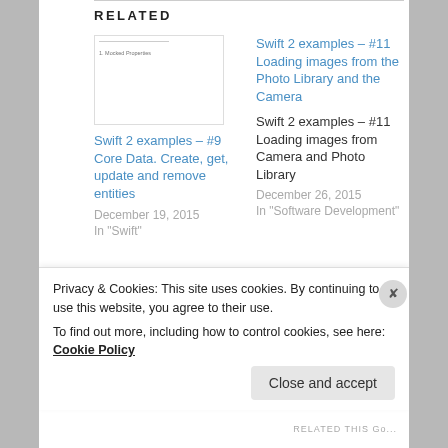RELATED
Swift 2 examples – #9 Core Data. Create, get, update and remove entities
December 19, 2015
In "Swift"
[Figure (screenshot): Thumbnail of a document page with small text and a horizontal line]
Swift 2 examples – #11 Loading images from the Photo Library and the Camera
Swift 2 examples – #11 Loading images from Camera and Photo Library
December 26, 2015
In "Software Development"
Privacy & Cookies: This site uses cookies. By continuing to use this website, you agree to their use.
To find out more, including how to control cookies, see here: Cookie Policy
Close and accept